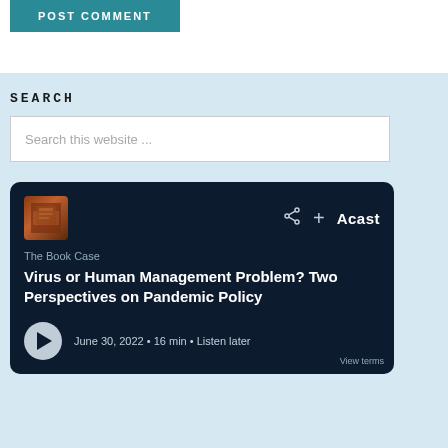POST COMMENT
SEARCH
Search this website ...
[Figure (screenshot): Acast podcast player card with dark navy background showing 'The Book Case' podcast episode titled 'Virus or Human Management Problem? Two Perspectives on Pandemic Policy', dated June 30, 2022, 16 min, Listen later option]
The Book Case
Virus or Human Management Problem? Two Perspectives on Pandemic Policy
June 30, 2022 • 16 min • Listen later
View terms